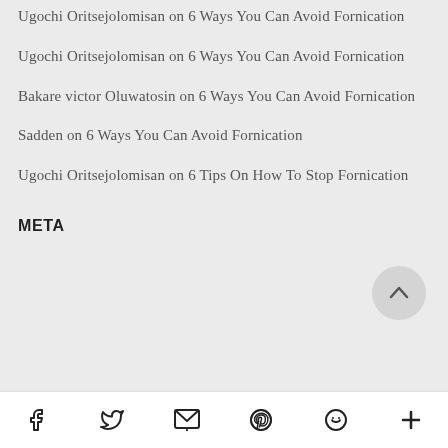Ugochi Oritsejolomisan on 6 Ways You Can Avoid Fornication
Ugochi Oritsejolomisan on 6 Ways You Can Avoid Fornication
Bakare victor Oluwatosin on 6 Ways You Can Avoid Fornication
Sadden on 6 Ways You Can Avoid Fornication
Ugochi Oritsejolomisan on 6 Tips On How To Stop Fornication
META
Social share icons: Facebook, Twitter, Email, Pinterest, WhatsApp, More